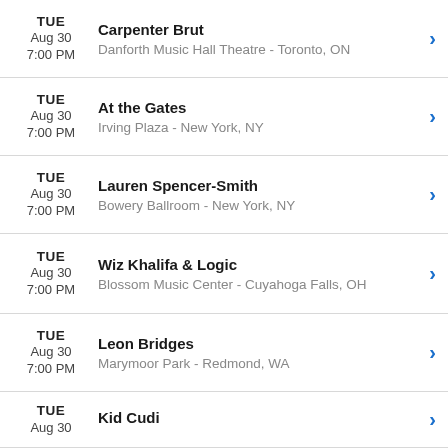TUE Aug 30 7:00 PM | Carpenter Brut | Danforth Music Hall Theatre - Toronto, ON
TUE Aug 30 7:00 PM | At the Gates | Irving Plaza - New York, NY
TUE Aug 30 7:00 PM | Lauren Spencer-Smith | Bowery Ballroom - New York, NY
TUE Aug 30 7:00 PM | Wiz Khalifa & Logic | Blossom Music Center - Cuyahoga Falls, OH
TUE Aug 30 7:00 PM | Leon Bridges | Marymoor Park - Redmond, WA
TUE Aug 30 | Kid Cudi